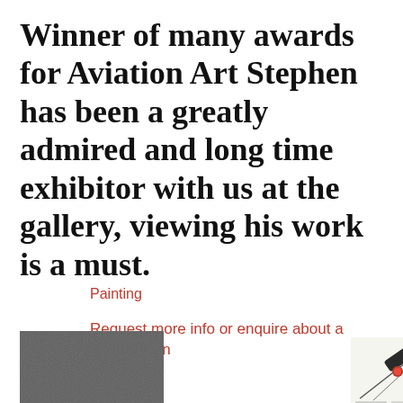Winner of many awards for Aviation Art Stephen has been a greatly admired and long time exhibitor with us at the gallery, viewing his work is a must.
Painting
Request more info or enquire about a commission
[Figure (photo): Partial view of a painting or photograph showing a dark grey textured surface, cropped at bottom-left of page]
[Figure (photo): Partial view of a painting showing what appears to be an aircraft detail with a red circle element against a light background, cropped at bottom-right of page]